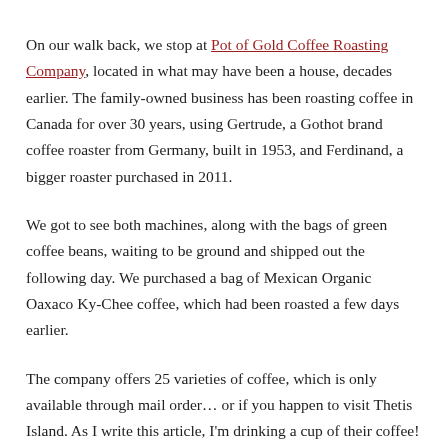On our walk back, we stop at Pot of Gold Coffee Roasting Company, located in what may have been a house, decades earlier. The family-owned business has been roasting coffee in Canada for over 30 years, using Gertrude, a Gothot brand coffee roaster from Germany, built in 1953, and Ferdinand, a bigger roaster purchased in 2011.
We got to see both machines, along with the bags of green coffee beans, waiting to be ground and shipped out the following day. We purchased a bag of Mexican Organic Oaxaco Ky-Chee coffee, which had been roasted a few days earlier.
The company offers 25 varieties of coffee, which is only available through mail order… or if you happen to visit Thetis Island. As I write this article, I'm drinking a cup of their coffee!